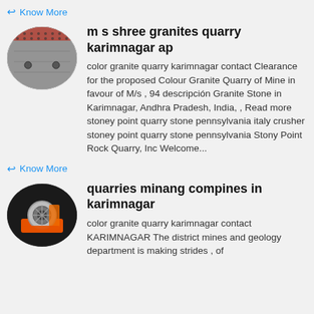Know More
[Figure (photo): Oval thumbnail photo of a granite quarry surface showing stone texture with a red mesh/grate visible at top]
m s shree granites quarry karimnagar ap
color granite quarry karimnagar contact Clearance for the proposed Colour Granite Quarry of Mine in favour of M/s , 94 descripción Granite Stone in Karimnagar, Andhra Pradesh, India, , Read more stoney point quarry stone pennsylvania italy crusher stoney point quarry stone pennsylvania Stony Point Rock Quarry, Inc Welcome...
Know More
[Figure (photo): Oval thumbnail photo of industrial mining machinery — orange and silver mechanical equipment on dark background]
quarries minang compines in karimnagar
color granite quarry karimnagar contact KARIMNAGAR The district mines and geology department is making strides , of